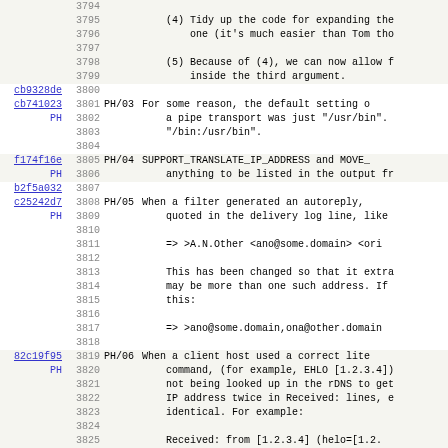Source code view with line numbers 3794-3826, showing commit hashes and patch notes for an email software project (likely Exim).
| hash | linenum | tag | content |
| --- | --- | --- | --- |
|  | 3794 |  |  |
|  | 3795 |  |     (4) Tidy up the code for expanding the |
|  | 3796 |  |         one (it's much easier than Tom tho |
|  | 3797 |  |  |
|  | 3798 |  |     (5) Because of (4), we can now allow f |
|  | 3799 |  |         inside the third argument. |
| cb9328de | 3800 |  |  |
| cb741023 | 3801 | PH/03 | For some reason, the default setting o |
| PH | 3802 |  |     a pipe transport was just "/usr/bin". |
|  | 3803 |  |     "/bin:/usr/bin". |
|  | 3804 |  |  |
| f174f16e | 3805 | PH/04 | SUPPORT_TRANSLATE_IP_ADDRESS and MOVE_ |
| PH | 3806 |  |     anything to be listed in the output fr |
| b2f5a032 | 3807 |  |  |
| c25242d7 | 3808 | PH/05 | When a filter generated an autoreply, |
| PH | 3809 |  |     quoted in the delivery log line, like |
|  | 3810 |  |  |
|  | 3811 |  |       => >A.N.Other <ano@some.domain> <ori |
|  | 3812 |  |  |
|  | 3813 |  |     This has been changed so that it extra |
|  | 3814 |  |     may be more than one such address. If |
|  | 3815 |  |     this: |
|  | 3816 |  |  |
|  | 3817 |  |       => >ano@some.domain,ona@other.domain |
|  | 3818 |  |  |
| 82c19f95 | 3819 | PH/06 | When a client host used a correct lite |
| PH | 3820 |  |     command, (for example, EHLO [1.2.3.4]) |
|  | 3821 |  |     not being looked up in the rDNS to get |
|  | 3822 |  |     IP address twice in Received: lines, e |
|  | 3823 |  |     identical. For example: |
|  | 3824 |  |  |
|  | 3825 |  |       Received: from [1.2.3.4] (helo=[1.2. |
|  | 3826 |  |  |